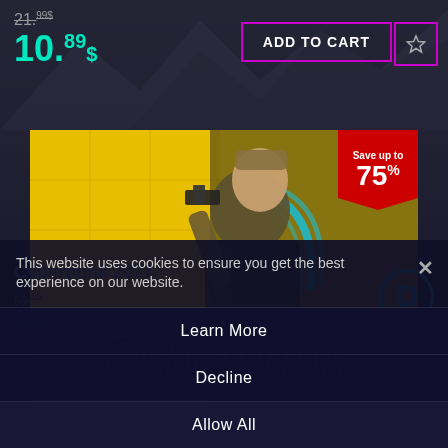21.99$
10.89$
ADD TO CART
[Figure (illustration): Cyberpunk 2077 game cover art showing a male character with gun and cybernetic implants against a yellow background with the Cyberpunk 2077 logo]
Save up to 75%
This website uses cookies to ensure you get the best experience on our website.
Learn More
Decline
Allow All
Cyberpunk 2077
60.19
1...